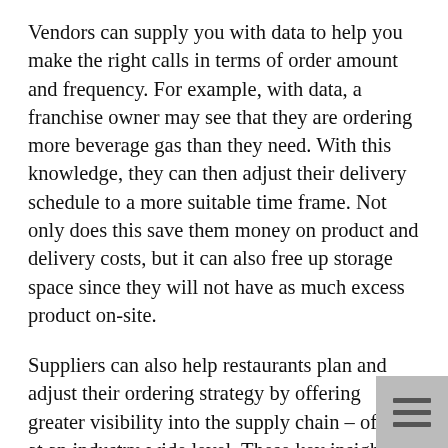Vendors can supply you with data to help you make the right calls in terms of order amount and frequency. For example, with data, a franchise owner may see that they are ordering more beverage gas than they need. With this knowledge, they can then adjust their delivery schedule to a more suitable time frame. Not only does this save them money on product and delivery costs, but it can also free up storage space since they will not have as much excess product on-site.
Suppliers can also help restaurants plan and adjust their ordering strategy by offering greater visibility into the supply chain – often at an industry-wide level. These key insights can help restaurant owners or managers plan orders and navigate disruptions such as potential shortages, safety hazards, or industry changes. These insights can be particularly useful for